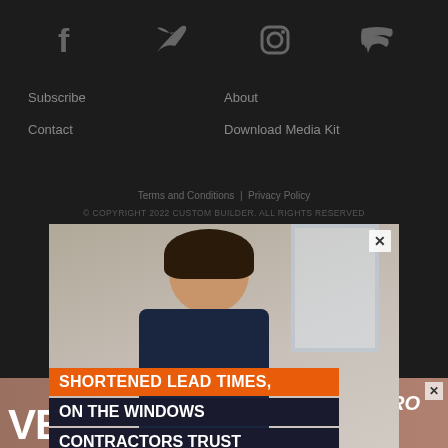[Figure (illustration): Social media icons row: Facebook, Twitter, Instagram, RSS feed icons in dark gray on dark background]
Subscribe
About
Contact
Download Media Kit
Terms and Conditions | Privacy Policy
© COPYRIGHT 2022 CUSTOM BUILDER. ALL RIGHTS RESERVED
[Figure (photo): Andersen Windows & Doors advertisement popup. Shows a contractor woman with text: SHORTENED LEAD TIMES, ON THE WINDOWS CONTRACTORS TRUST THE MOST. Andersen 400 Series logo and LEARN MORE button. Survey note: 2022 Andersen brand survey of U.S. contractors.]
[Figure (other): Versatex advertisement banner at bottom showing VERSATEX logo text and THE PRO partial text, with X close button]